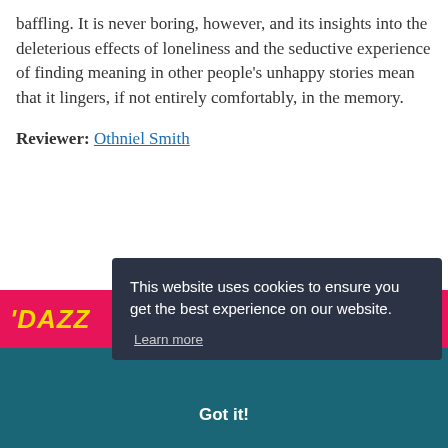baffling. It is never boring, however, and its insights into the deleterious effects of loneliness and the seductive experience of finding meaning in other people's unhappy stories mean that it lingers, if not entirely comfortably, in the memory.
Reviewer: Othniel Smith
[Figure (screenshot): Pink/magenta banner with yellow italic text reading 'DAZZ' (partially visible)]
[Figure (screenshot): Cookie consent popup overlay on dark navy background reading: 'This website uses cookies to ensure you get the best experience on our website. Learn more' with a 'Got it!' button below on teal background]